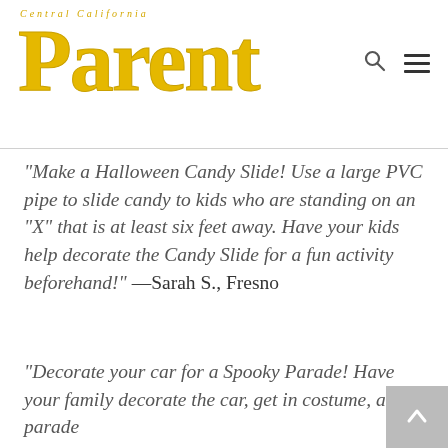[Figure (logo): Central California Parent magazine logo in yellow/gold color with large stylized 'Parent' text]
“Make a Halloween Candy Slide! Use a large PVC pipe to slide candy to kids who are standing on an “X” that is at least six feet away. Have your kids help decorate the Candy Slide for a fun activity beforehand!” —Sarah S., Fresno
“Decorate your car for a Spooky Parade! Have your family decorate the car, get in costume, and parade